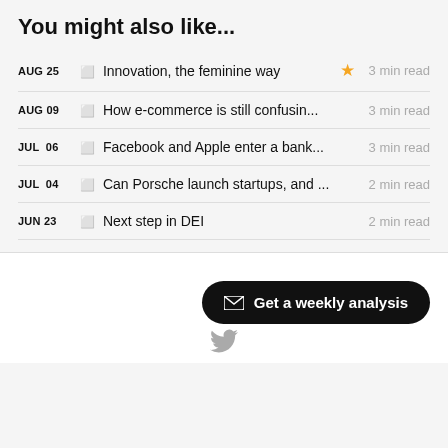You might also like...
AUG 25 — 🔖 Innovation, the feminine way ★ 3 min read
AUG 09 — 🔖 How e-commerce is still confusin... 3 min read
JUL 06 — 🔖 Facebook and Apple enter a bank... 3 min read
JUL 04 — 🔖 Can Porsche launch startups, and ... 2 min read
JUN 23 — 🔖 Next step in DEI 2 min read
✉ Get a weekly analysis